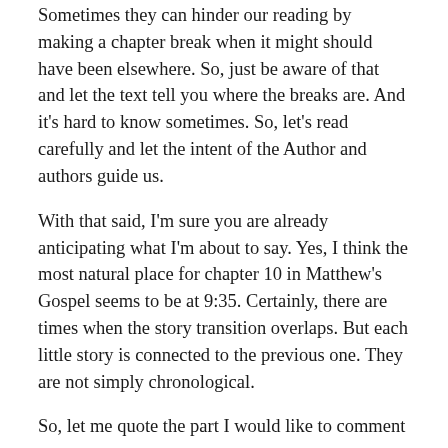Sometimes they can hinder our reading by making a chapter break when it might should have been elsewhere. So, just be aware of that and let the text tell you where the breaks are. And it's hard to know sometimes. So, let's read carefully and let the intent of the Author and authors guide us.
With that said, I'm sure you are already anticipating what I'm about to say. Yes, I think the most natural place for chapter 10 in Matthew's Gospel seems to be at 9:35. Certainly, there are times when the story transition overlaps. But each little story is connected to the previous one. They are not simply chronological.
So, let me quote the part I would like to comment on:
(Matt. 9:35-10:1) And Jesus went throughout all the cities and villages, teaching in their synagogues and proclaiming